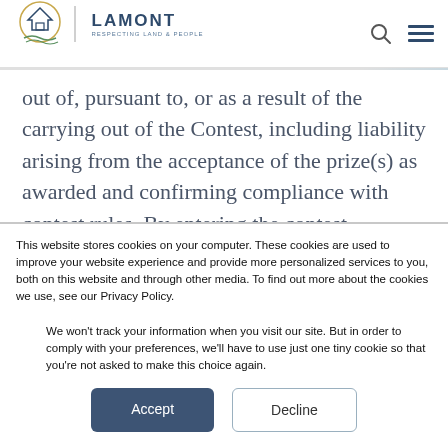LAMONT — RESPECTING LAND & PEOPLE
out of, pursuant to, or as a result of the carrying out of the Contest, including liability arising from the acceptance of the prize(s) as awarded and confirming compliance with contest rules. By entering the contest, entrants' consent to the use of
This website stores cookies on your computer. These cookies are used to improve your website experience and provide more personalized services to you, both on this website and through other media. To find out more about the cookies we use, see our Privacy Policy.
We won't track your information when you visit our site. But in order to comply with your preferences, we'll have to use just one tiny cookie so that you're not asked to make this choice again.